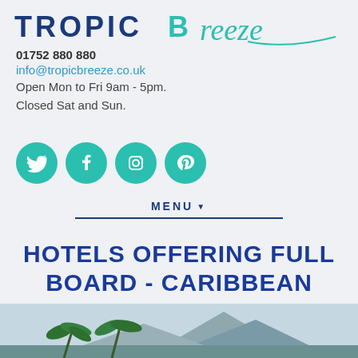[Figure (logo): Tropic Breeze travel agency logo with bold uppercase text and teal cursive script]
01752 880 880
info@tropicbreeze.co.uk
Open Mon to Fri 9am - 5pm.
Closed Sat and Sun.
[Figure (illustration): Four teal circular social media icons: Twitter, Facebook, Instagram, Pinterest]
MENU
HOTELS OFFERING FULL BOARD - CARIBBEAN ACCOMMODATION
[Figure (photo): Caribbean landscape photo showing palm trees and mountains at the bottom of the page]